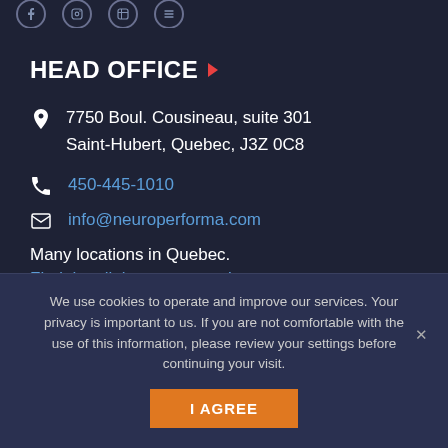[Figure (other): Social media icons (Facebook, LinkedIn, Instagram, and one more) as circular outline buttons in a row at the top of the page]
HEAD OFFICE
7750 Boul. Cousineau, suite 301
Saint-Hubert, Quebec, J3Z 0C8
450-445-1010
info@neuroperforma.com
Many locations in Quebec.
Find the clinic nearest you!
We use cookies to operate and improve our services. Your privacy is important to us. If you are not comfortable with the use of this information, please review your settings before continuing your visit.